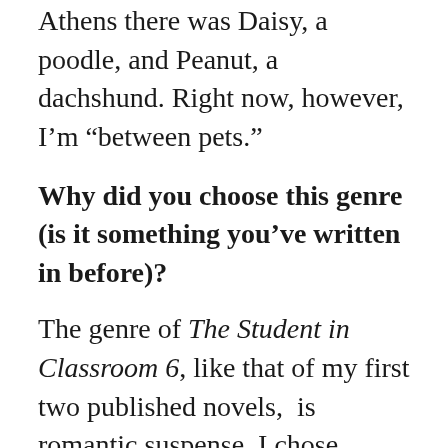Athens there was Daisy, a poodle, and Peanut, a dachshund. Right now, however, I’m “between pets.”
Why did you choose this genre (is it something you’ve written in before)?
The genre of The Student in Classroom 6, like that of my first two published novels,  is romantic suspense. I chose romance because love is something most of us need and hope for in our lives—